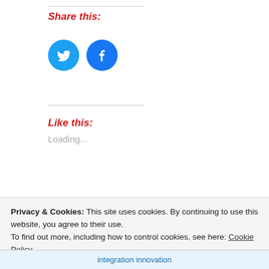Share this:
[Figure (illustration): Twitter and Facebook circular social media share buttons (blue circles with white bird and f icons)]
Like this:
Loading...
[Figure (photo): Two thumbnail images side by side: left is a yellow background with smartphone icons and text '2017智能手机出货量(IDC) / 2017 Smartphones Shipment (IDC)'; right is a hand-drawn sketch illustration with characters and text 'IT COULD BE ONE OF THE MOST CHALLENGING THINGS TO DO FOR...']
Privacy & Cookies: This site uses cookies. By continuing to use this website, you agree to their use.
To find out more, including how to control cookies, see here: Cookie Policy
Close and accept
integration innovation